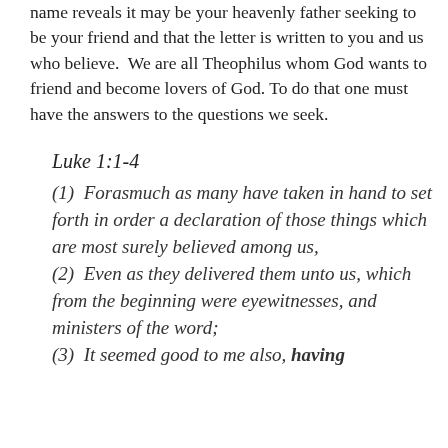name reveals it may be your heavenly father seeking to be your friend and that the letter is written to you and us who believe.  We are all Theophilus whom God wants to friend and become lovers of God. To do that one must have the answers to the questions we seek.
Luke 1:1-4
(1)  Forasmuch as many have taken in hand to set forth in order a declaration of those things which are most surely believed among us,
(2)  Even as they delivered them unto us, which from the beginning were eyewitnesses, and ministers of the word;
(3)  It seemed good to me also, having